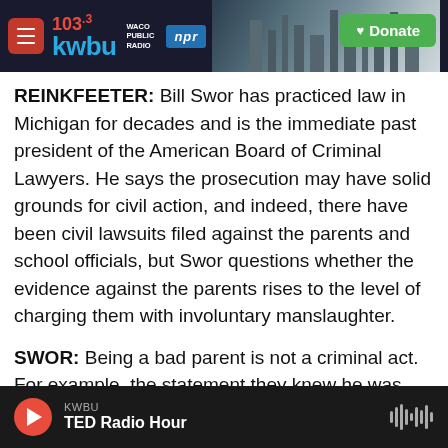103.3 KWBU WACO PUBLIC RADIO | npr | Donate
REINKFEETER: Bill Swor has practiced law in Michigan for decades and is the immediate past president of the American Board of Criminal Lawyers. He says the prosecution may have solid grounds for civil action, and indeed, there have been civil lawsuits filed against the parents and school officials, but Swor questions whether the evidence against the parents rises to the level of charging them with involuntary manslaughter.
SWOR: Being a bad parent is not a criminal act. For example, the statement they knew he was troubled - that doesn't mean that they knew he intended to
KWBU | TED Radio Hour